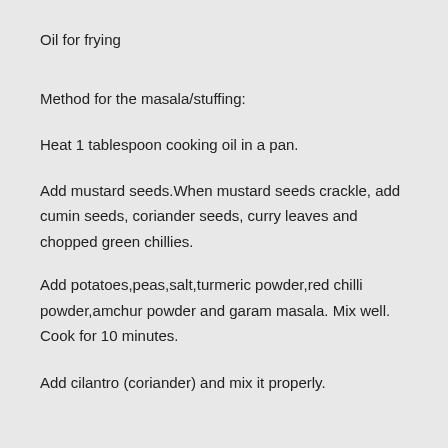Oil for frying
Method for the masala/stuffing:
Heat 1 tablespoon cooking oil in a pan.
Add mustard seeds.When mustard seeds crackle, add cumin seeds, coriander seeds, curry leaves and chopped green chillies.
Add potatoes,peas,salt,turmeric powder,red chilli powder,amchur powder and garam masala. Mix well. Cook for 10 minutes.
Add cilantro (coriander) and mix it properly.